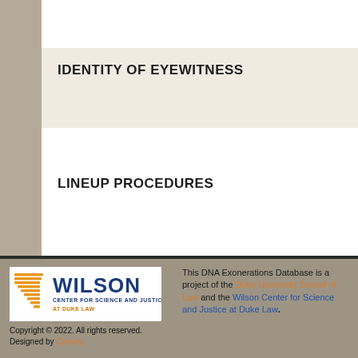IDENTITY OF EYEWITNESS
LINEUP PROCEDURES
[Figure (logo): Wilson Center for Science and Justice at Duke Law logo]
Copyright © 2022. All rights reserved.
Designed by Convoy
This DNA Exonerations Database is a project of the Duke University School of Law and the Wilson Center for Science and Justice at Duke Law.